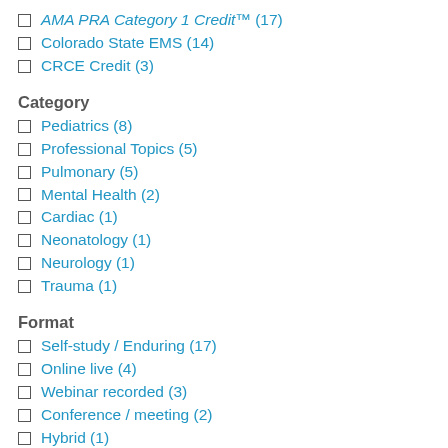AMA PRA Category 1 Credit™ (17)
Colorado State EMS (14)
CRCE Credit (3)
Category
Pediatrics (8)
Professional Topics (5)
Pulmonary (5)
Mental Health (2)
Cardiac (1)
Neonatology (1)
Neurology (1)
Trauma (1)
Format
Self-study / Enduring (17)
Online live (4)
Webinar recorded (3)
Conference / meeting (2)
Hybrid (1)
Webinar live (1)